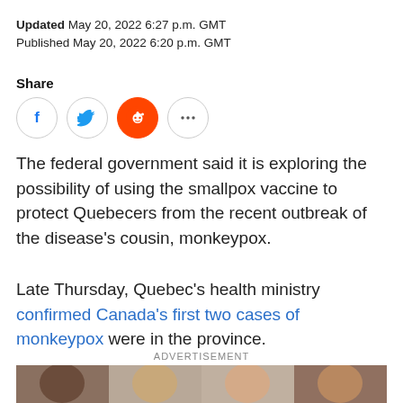Updated May 20, 2022 6:27 p.m. GMT
Published May 20, 2022 6:20 p.m. GMT
Share
[Figure (infographic): Four social share buttons: Facebook, Twitter, Reddit, and more (ellipsis)]
The federal government said it is exploring the possibility of using the smallpox vaccine to protect Quebecers from the recent outbreak of the disease's cousin, monkeypox.
Late Thursday, Quebec's health ministry confirmed Canada's first two cases of monkeypox were in the province.
ADVERTISEMENT
[Figure (photo): Advertisement image showing four people (diverse group) on a city street, smiling.]